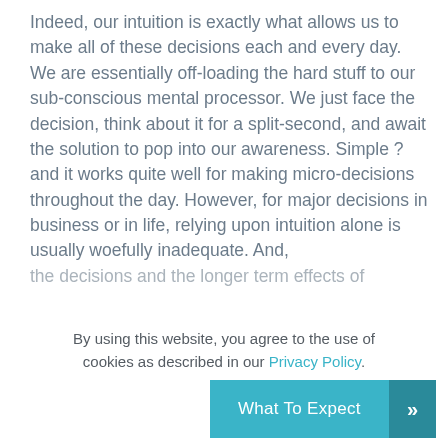Indeed, our intuition is exactly what allows us to make all of these decisions each and every day. We are essentially off-loading the hard stuff to our sub-conscious mental processor. We just face the decision, think about it for a split-second, and await the solution to pop into our awareness. Simple ? and it works quite well for making micro-decisions throughout the day. However, for major decisions in business or in life, relying upon intuition alone is usually woefully inadequate. And,
By using this website, you agree to the use of cookies as described in our Privacy Policy.
What To Expect »